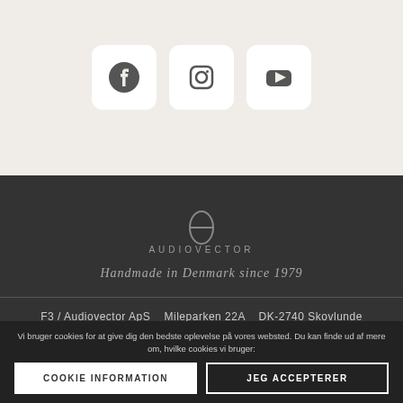[Figure (illustration): Three social media icon buttons in rounded white boxes: Facebook, Instagram, YouTube]
[Figure (logo): Audiovector logo: theta symbol above the text AUDIOVECTOR]
Handmade in Denmark since 1979
F3 / Audiovector ApS   Mileparken 22A   DK-2740 Skovlunde
Vi bruger cookies for at give dig den bedste oplevelse på vores websted. Du kan finde ud af mere om, hvilke cookies vi bruger:
COOKIE INFORMATION
JEG ACCEPTERER